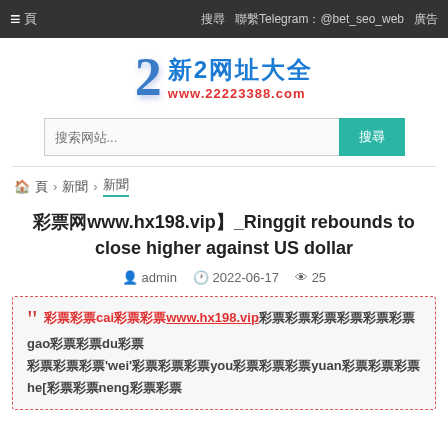≡ 頁  搜尋 聯繫Telegram：@bet_seo_web 廣告
[Figure (logo): 新2网址大全 logo with large blue '2' numeral and text '新2网址大全' in blue and 'www.22223388.com' in red]
搜索网站... 搜尋
🏠 頁 › 新聞 › 新聞
彩票网www.hx198.vip】_Ringgit rebounds to close higher against US dollar
admin  2022-06-17  25
彩票cai彩票www.hx198.vip彩票彩票彩票彩票彩票gao彩票du彩票彩票彩票'wei'彩票彩票彩票you彩票彩票彩票yuan彩票彩票彩票 he[彩票彩票neng彩票彩票